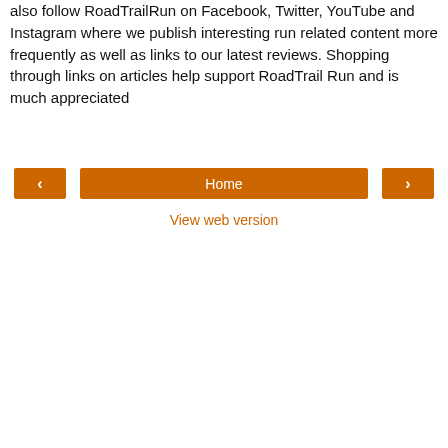also follow RoadTrailRun on Facebook, Twitter, YouTube and Instagram where we publish interesting run related content more frequently as well as links to our latest reviews. Shopping through links on articles help support RoadTrail Run and is much appreciated
< Home > View web version